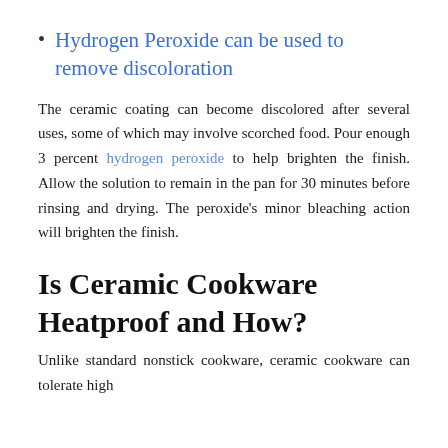Hydrogen Peroxide can be used to remove discoloration
The ceramic coating can become discolored after several uses, some of which may involve scorched food. Pour enough 3 percent hydrogen peroxide to help brighten the finish. Allow the solution to remain in the pan for 30 minutes before rinsing and drying. The peroxide’s minor bleaching action will brighten the finish.
Is Ceramic Cookware Heatproof and How?
Unlike standard nonstick cookware, ceramic cookware can tolerate high